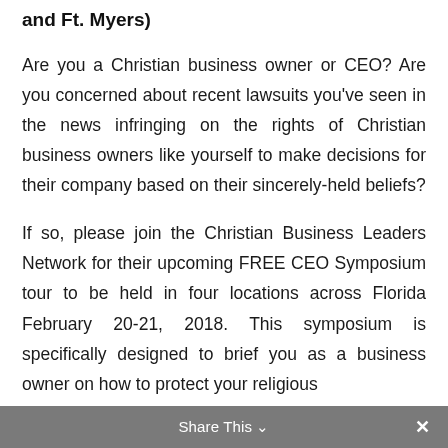and Ft. Myers)
Are you a Christian business owner or CEO? Are you concerned about recent lawsuits you've seen in the news infringing on the rights of Christian business owners like yourself to make decisions for their company based on their sincerely-held beliefs?
If so, please join the Christian Business Leaders Network for their upcoming FREE CEO Symposium tour to be held in four locations across Florida February 20-21, 2018. This symposium is specifically designed to brief you as a business owner on how to protect your religious
Share This ∨  ✕